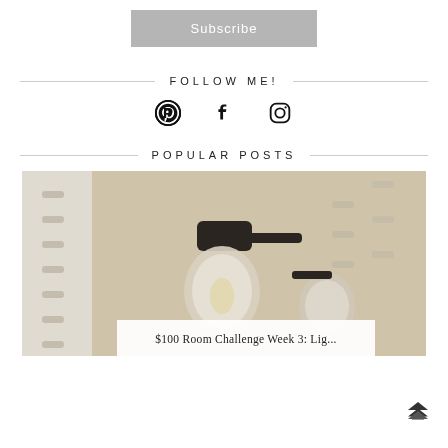Subscribe
FOLLOW ME!
[Figure (other): Social media icons: Pinterest, Facebook, Instagram]
POPULAR POSTS
[Figure (photo): Photo of a black wall-mounted light fixture with glass globes against a patterned white and tan wall]
$100 Room Challenge Week 3: Lig...
Back to top arrow icon